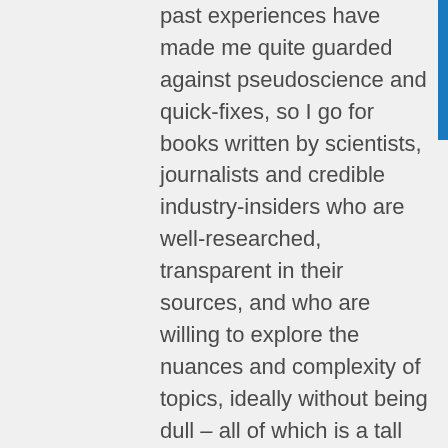past experiences have made me quite guarded against pseudoscience and quick-fixes, so I go for books written by scientists, journalists and credible industry-insiders who are well-researched, transparent in their sources, and who are willing to explore the nuances and complexity of topics, ideally without being dull – all of which is a tall order, I know.
So without further ado, here are my reviews of the top five books that have changed my life this year. Feel free to share your own book recommendations in the comments below.